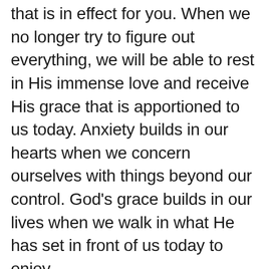that is in effect for you. When we no longer try to figure out everything, we will be able to rest in His immense love and receive His grace that is apportioned to us today. Anxiety builds in our hearts when we concern ourselves with things beyond our control. God's grace builds in our lives when we walk in what He has set in front of us today to enjoy.
Prayer: Heavenly Father, I ask that you touch my heart. I have been anxious about many things, and I'm sorry. I receive your peace and comfort right now. I acknowledge your presence in my life. Thank you for being with me and for